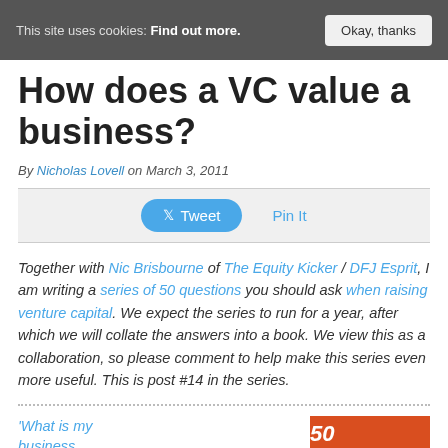This site uses cookies: Find out more. Okay, thanks
How does a VC value a business?
By Nicholas Lovell on March 3, 2011
[Figure (other): Social sharing bar with Tweet button and Pin It link]
Together with Nic Brisbourne of The Equity Kicker / DFJ Esprit, I am writing a series of 50 questions you should ask when raising venture capital. We expect the series to run for a year, after which we will collate the answers into a book. We view this as a collaboration, so please comment to help make this series even more useful. This is post #14 in the series.
[Figure (other): Red book cover showing '50 Questions']
'What is my business...